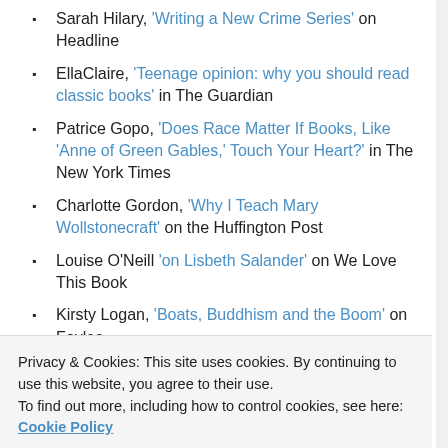Sarah Hilary, 'Writing a New Crime Series' on Headline
EllaClaire, 'Teenage opinion: why you should read classic books' in The Guardian
Patrice Gopo, 'Does Race Matter If Books, Like 'Anne of Green Gables,' Touch Your Heart?' in The New York Times
Charlotte Gordon, 'Why I Teach Mary Wollstonecraft' on the Huffington Post
Louise O'Neill 'on Lisbeth Salander' on We Love This Book
Kirsty Logan, 'Boats, Buddhism and the Boom' on Foyles
Hillary Kelly, 'Bring back the serialized novel' in the
Privacy & Cookies: This site uses cookies. By continuing to use this website, you agree to their use.
To find out more, including how to control cookies, see here: Cookie Policy